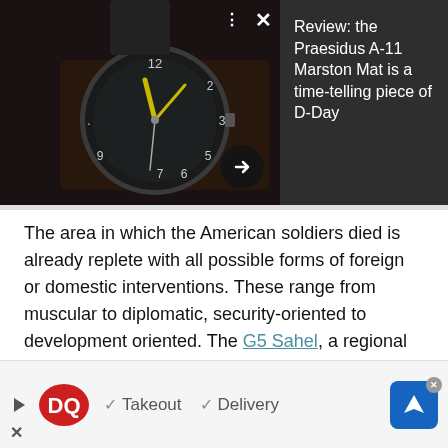[Figure (photo): A close-up photo of a military-style analog watch with a dark face on a dark background, with UI overlay showing three-dot menu icon, X close button, and a right arrow navigation button. Right panel shows article title text on dark background: 'Review: the Praesidus A-11 Marston Mat is a time-telling piece of D-Day']
The area in which the American soldiers died is already replete with all possible forms of foreign or domestic interventions. These range from muscular to diplomatic, security-oriented to development oriented. The G5 Sahel, a regional initiative backed by the French to enhance security cooperation, presents
[Figure (other): Dairy Queen advertisement banner with DQ logo, play icon, checkmarks next to 'Takeout' and 'Delivery', blue navigation/directions icon with close X button, and a close X in bottom left]